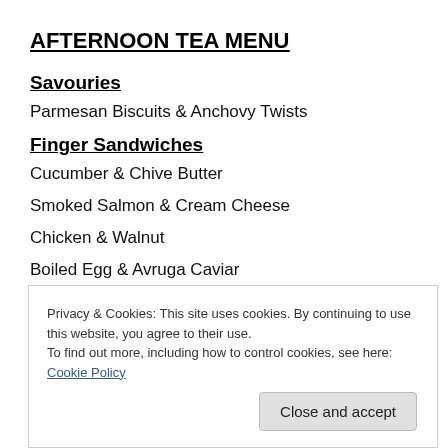AFTERNOON TEA MENU
Savouries
Parmesan Biscuits & Anchovy Twists
Finger Sandwiches
Cucumber & Chive Butter
Smoked Salmon & Cream Cheese
Chicken & Walnut
Boiled Egg & Avruga Caviar
Privacy & Cookies: This site uses cookies. By continuing to use this website, you agree to their use.
To find out more, including how to control cookies, see here: Cookie Policy
Alfafore